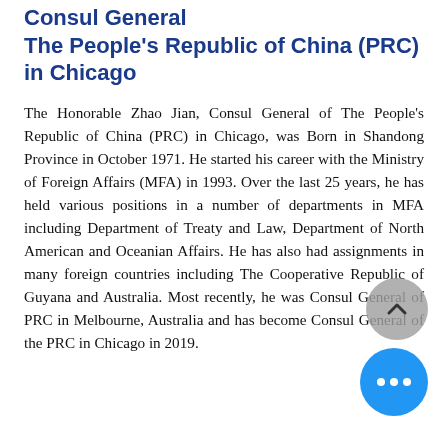Consul General The People's Republic of China (PRC) in Chicago
The Honorable Zhao Jian, Consul General of The People's Republic of China (PRC) in Chicago, was Born in Shandong Province in October 1971. He started his career with the Ministry of Foreign Affairs (MFA) in 1993. Over the last 25 years, he has held various positions in a number of departments in MFA including Department of Treaty and Law, Department of North American and Oceanian Affairs. He has also had assignments in many foreign countries including The Cooperative Republic of Guyana and Australia. Most recently, he was Consul General of PRC in Melbourne, Australia and has become Consul General of the PRC in Chicago in 2019.